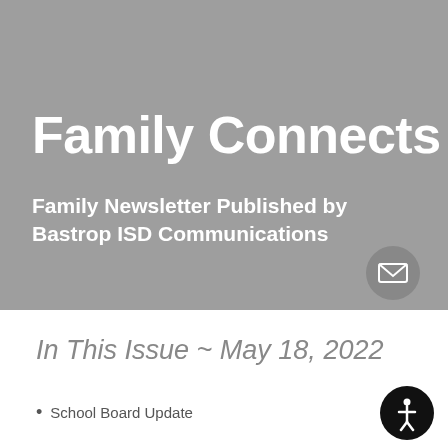Family Connects
Family Newsletter Published by Bastrop ISD Communications
In This Issue ~ May 18, 2022
School Board Update